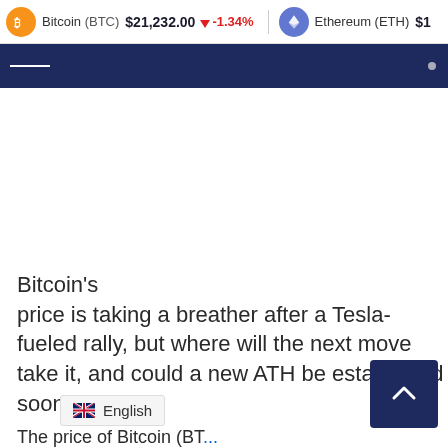Bitcoin (BTC) $21,232.00 ↓ -1.34% | Ethereum (ETH) $1...
Bitcoin's price is taking a breather after a Tesla-fueled rally, but where will the next move take it, and could a new ATH be established soon?
The price of Bitcoin (BT...